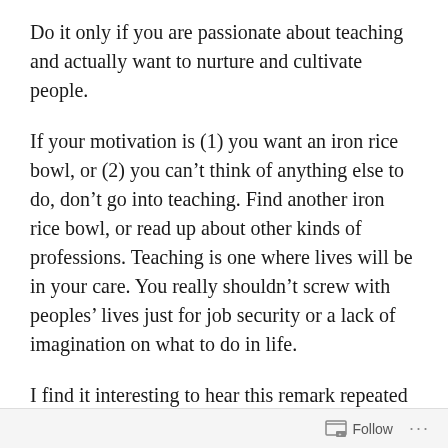Do it only if you are passionate about teaching and actually want to nurture and cultivate people.
If your motivation is (1) you want an iron rice bowl, or (2) you can't think of anything else to do, don't go into teaching. Find another iron rice bowl, or read up about other kinds of professions. Teaching is one where lives will be in your care. You really shouldn't screw with peoples' lives just for job security or a lack of imagination on what to do in life.
I find it interesting to hear this remark repeated by several TAs in the past year: “I’ve come to
Follow ...